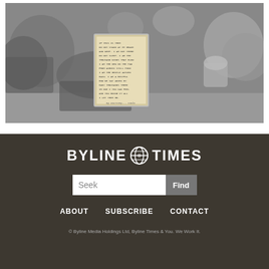[Figure (photo): Black and white photograph of a memorial tribute scene with flowers, tributes, and a handwritten note card/letter in a frame at the center, placed on the ground among floral arrangements.]
[Figure (logo): Byline Times logo with globe icon between the words BYLINE and TIMES, displayed in white bold uppercase text on dark brown background.]
Seek
Find
ABOUT   SUBSCRIBE   CONTACT
© Byline Media Holdings Ltd, Byline Times & You. We Work It.